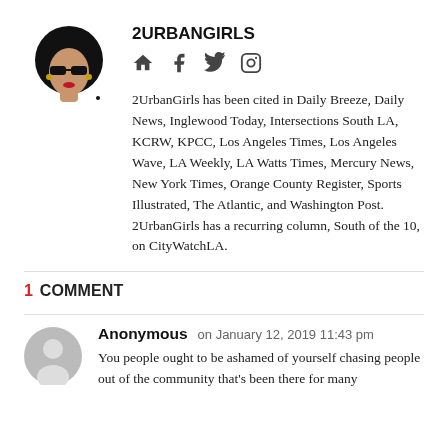[Figure (illustration): 2UrbanGirls logo: stylized illustration of a woman with large black afro and sunglasses]
2URBANGIRLS
[Figure (infographic): Social media icons: home/website, Facebook, Twitter, Instagram]
2UrbanGirls has been cited in Daily Breeze, Daily News, Inglewood Today, Intersections South LA, KCRW, KPCC, Los Angeles Times, Los Angeles Wave, LA Weekly, LA Watts Times, Mercury News, New York Times, Orange County Register, Sports Illustrated, The Atlantic, and Washington Post. 2UrbanGirls has a recurring column, South of the 10, on CityWatchLA.
1 COMMENT
[Figure (illustration): Anonymous user avatar: gray person silhouette icon]
Anonymous on January 12, 2019 11:43 pm
You people ought to be ashamed of yourself chasing people out of the community that's been there for many